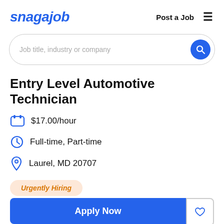snagajob | Post a Job
Job title, industry or company
Entry Level Automotive Technician
$17.00/hour
Full-time, Part-time
Laurel, MD 20707
Urgently Hiring
Apply Now